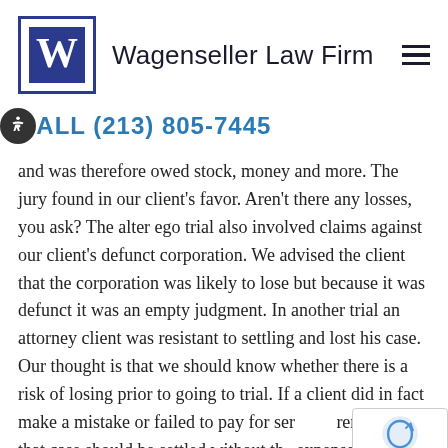Wagenseller Law Firm
CALL (213) 805-7445
and was therefore owed stock, money and more. The jury found in our client’s favor. Aren’t there any losses, you ask? The alter ego trial also involved claims against our client’s defunct corporation. We advised the client that the corporation was likely to lose but because it was defunct it was an empty judgment. In another trial an attorney client was resistant to settling and lost his case. Our thought is that we should know whether there is a risk of losing prior to going to trial. If a client did in fact make a mistake or failed to pay for services rendered, that case should be settled without the expense of trial and exposure to a judgment and the